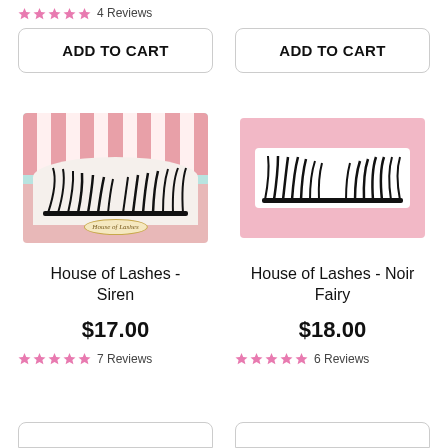★★★★★ 4 Reviews
ADD TO CART
ADD TO CART
[Figure (photo): House of Lashes Siren false eyelashes in pink and teal striped packaging]
[Figure (photo): House of Lashes Noir Fairy false eyelashes in pink packaging with clear window]
House of Lashes - Siren
House of Lashes - Noir Fairy
$17.00
$18.00
★★★★★ 7 Reviews
★★★★★ 6 Reviews